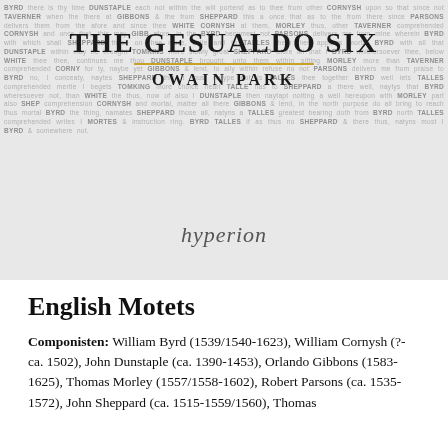[Figure (illustration): Album cover background for 'The Gesualdo Six / Owain Park – English Motets' on Hyperion label. Grey background filled with watermark-style text listing composer names (BYRD, TAVERNER, CORNYSH, DUNSTAPLE, GIBBONS, TORMKINS, WHITE, MORLEY, SHEPPARD, TALLIS, PARSONS, etc.) in a repeating pattern, with 'THE GESUALDO SIX' in large serif bold at top center, a gold horizontal rule, 'OWAIN PARK' in spaced serif below, and the Hyperion label logo in italic script near the bottom center.]
English Motets
Componisten: William Byrd (1539/1540-1623), William Cornysh (?-ca. 1502), John Dunstaple (ca. 1390-1453), Orlando Gibbons (1583-1625), Thomas Morley (1557/1558-1602), Robert Parsons (ca. 1535-1572), John Sheppard (ca. 1515-1559/1560), Thomas